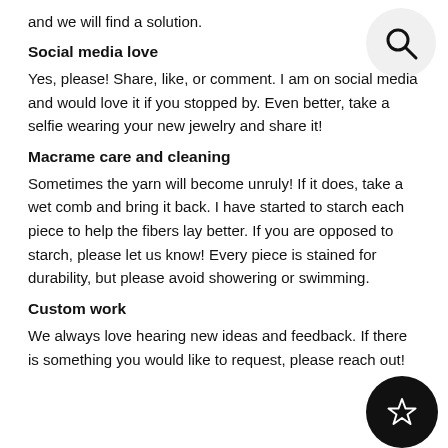and we will find a solution.
[Figure (illustration): Search magnifying glass icon in a light gray circle, top right corner]
Social media love
Yes, please! Share, like, or comment. I am on social media and would love it if you stopped by. Even better, take a selfie wearing your new jewelry and share it!
Macrame care and cleaning
Sometimes the yarn will become unruly! If it does, take a wet comb and bring it back. I have started to starch each piece to help the fibers lay better. If you are opposed to starch, please let us know! Every piece is stained for durability, but please avoid showering or swimming.
Custom work
We always love hearing new ideas and feedback. If there is something you would like to request, please reach out!
[Figure (illustration): Star icon in a dark black circle, bottom right corner]